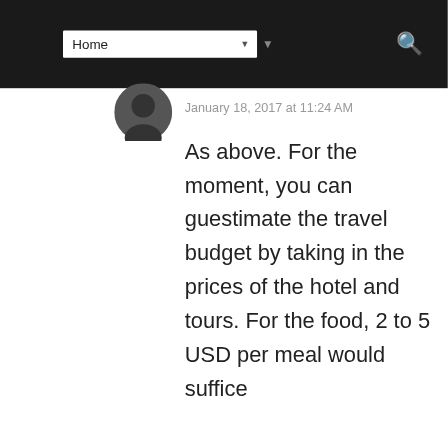[Figure (screenshot): Website navigation bar with Home dropdown menu and search icon on dark background]
January 18, 2017 at 11:24 AM
As above. For the moment, you can guestimate the travel budget by taking in the prices of the hotel and tours. For the food, 2 to 5 USD per meal would suffice
[Figure (other): Reply button (grey)]
[Figure (other): Share bar with 985 Shares count, Facebook, Twitter, Pinterest, SMS, and Messenger icons]